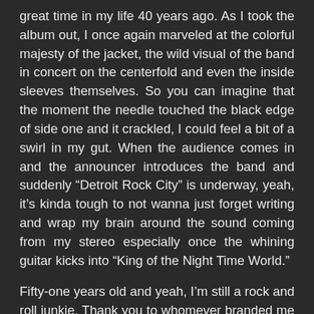great time in my life 40 years ago. As I took the album out, I once again marveled at the colorful majesty of the jacket, the wild visual of the band in concert on the centerfold and even the inside sleeves themselves. So you can imagine that the moment the needle touched the black edge of side one and it crackled, I could feel a bit of a swirl in my gut. When the audience comes in and the announcer introduces the band and suddenly “Detroit Rock City” is underway, yeah, it’s kinda tough to not wanna just forget writing and wrap my brain around the sound coming from my stereo especially once the whining guitar kicks into “King of the Night Time World.”
Fifty-one years old and yeah, I’m still a rock and roll junkie. Thank you to whomever branded me that years ago… Maybe one day, I will write that